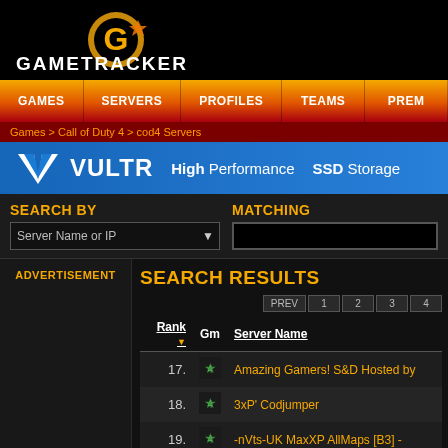[Figure (logo): GameTracker logo with golden G icon and white GAMETRACKER text on black background]
GAMES | SERVERS | PROFILES | TEAMS | PREM
Games > Call of Duty 4 > cod4 Servers
[Figure (screenshot): VULTR advertisement banner: High Performance SSD Storage]
SEARCH BY
Server Name or IP
MATCHING
ADVERTISEMENT
SEARCH RESULTS
| Rank | Gm | Server Name |
| --- | --- | --- |
| 17. |  | Amazing Gamers! S&D Hosted by |
| 18. |  | 3xP' Codjumper |
| 19. |  | -nVts-UK MaxXP AllMaps [B3] - |